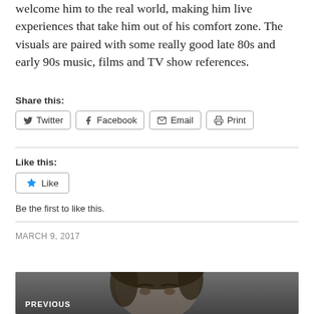welcome him to the real world, making him live experiences that take him out of his comfort zone. The visuals are paired with some really good late 80s and early 90s music, films and TV show references.
Share this:
[Figure (other): Social share buttons: Twitter, Facebook, Email, Print]
Like this:
[Figure (other): Like button with star icon]
Be the first to like this.
MARCH 9, 2017
[Figure (photo): Photo of a person's face (dark hair, looking upward), with 'PREVIOUS' label overlay]